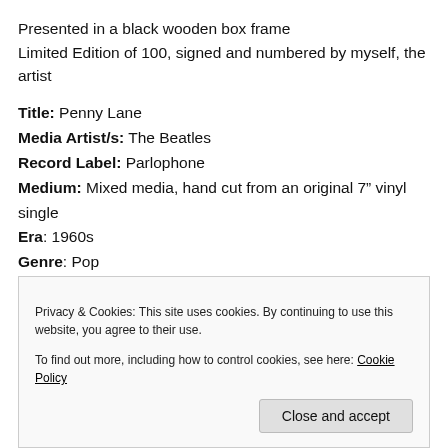Presented in a black wooden box frame
Limited Edition of 100, signed and numbered by myself, the artist
Title: Penny Lane
Media Artist/s: The Beatles
Record Label: Parlophone
Medium: Mixed media, hand cut from an original 7” vinyl single
Era: 1960s
Genre: Pop
Privacy & Cookies: This site uses cookies. By continuing to use this website, you agree to their use.
To find out more, including how to control cookies, see here: Cookie Policy
Close and accept